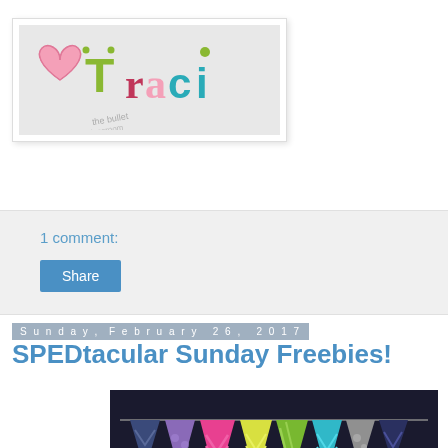[Figure (logo): Colorful 'Traci' logo with heart on grey background, watermarked]
1 comment:
Share
Sunday, February 26, 2017
SPEDtacular Sunday Freebies!
[Figure (illustration): Colorful pennant banner flags on dark background]